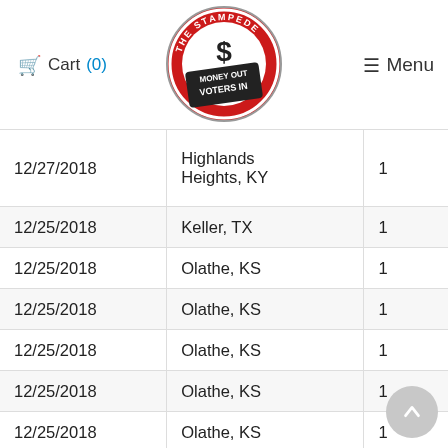Cart (0)  [The Stampede - Money Out / Voters In logo]  Menu
| Date | Location | Qty |
| --- | --- | --- |
| 12/27/2018 | Highlands Heights, KY | 1 |
| 12/25/2018 | Keller, TX | 1 |
| 12/25/2018 | Olathe, KS | 1 |
| 12/25/2018 | Olathe, KS | 1 |
| 12/25/2018 | Olathe, KS | 1 |
| 12/25/2018 | Olathe, KS | 1 |
| 12/25/2018 | Olathe, KS | 1 |
| 12/25/2018 | Olathe, KS | 1 |